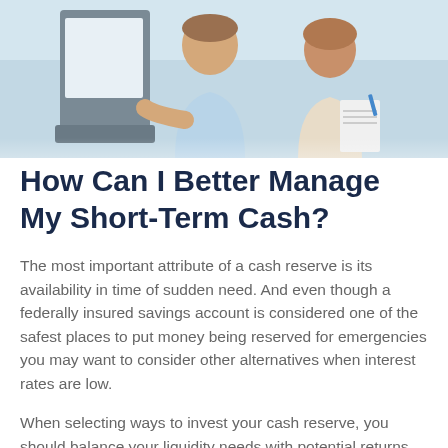[Figure (photo): Photo of two people (a man and a woman) looking at a computer screen, the woman holding a notepad with a pen]
How Can I Better Manage My Short-Term Cash?
The most important attribute of a cash reserve is its availability in time of sudden need. And even though a federally insured savings account is considered one of the safest places to put money being reserved for emergencies you may want to consider other alternatives when interest rates are low.
When selecting ways to invest your cash reserve, you should balance your liquidity needs with potential returns. Short-term investment instruments, such as Treasury bills, certificates of deposit, and money market mutual funds, can provide you with